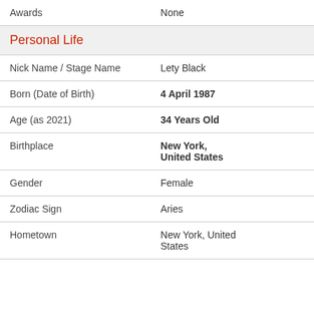| Awards | None |
| Personal Life |  |
| Nick Name / Stage Name | Lety Black |
| Born (Date of Birth) | 4 April 1987 |
| Age (as 2021) | 34 Years Old |
| Birthplace | New York, United States |
| Gender | Female |
| Zodiac Sign | Aries |
| Hometown | New York, United States |